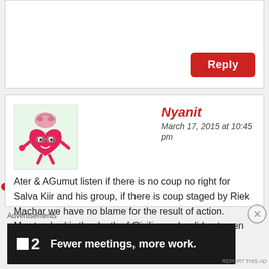Reply
Nyanit
March 17, 2015 at 10:45 pm
Ater & AGumut listen if there is no coup no right for Salva Kiir and his group, if there is coup staged by Riek Machar we have no blame for the result of action.
My standard is the death of Civilians who did not even know the way of Salva Kiir's Office & the Door of
Advertisements
[Figure (infographic): Advertisement banner: dark background with puzzle piece logo, number 2, and text 'Fewer meetings, more work.']